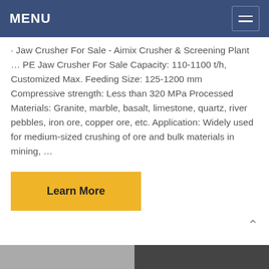MENU
· Jaw Crusher For Sale - Aimix Crusher & Screening Plant … PE Jaw Crusher For Sale Capacity: 110-1100 t/h, Customized Max. Feeding Size: 125-1200 mm Compressive strength: Less than 320 MPa Processed Materials: Granite, marble, basalt, limestone, quartz, river pebbles, iron ore, copper ore, etc. Application: Widely used for medium-sized crushing of ore and bulk materials in mining, …
Learn More